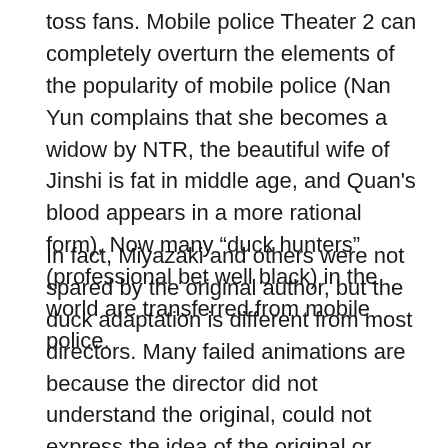toss fans. Mobile police Theater 2 can completely overturn the elements of the popularity of mobile police (Nan Yun complains that she becomes a widow by NTR, the beautiful wife of Jinshi is fat in middle age, and Quan's blood appears in a more rational form), Now many “duck hunters” (professional bet well black) in the world are transferred from mobile police.
In fact, Miyazaki and others were not spared by the original author, but the duck adaptation is different from most directors. Many failed animations are because the director did not understand the original, could not express the idea of the original or expressed it in a very superficial way, and even did not understand the character setting and world setting. It’s not necessarily glorious to follow the lead of the original, but the situation of the duck is exactly a re creation that is loyal to the world setting and character setting of the original. Some adaptations fall all the way back below